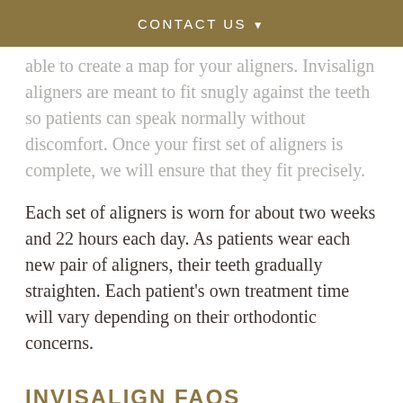CONTACT US ▾
able to create a map for your aligners. Invisalign aligners are meant to fit snugly against the teeth so patients can speak normally without discomfort. Once your first set of aligners is complete, we will ensure that they fit precisely.
Each set of aligners is worn for about two weeks and 22 hours each day. As patients wear each new pair of aligners, their teeth gradually straighten. Each patient's own treatment time will vary depending on their orthodontic concerns.
INVISALIGN FAQS
Read the answers to frequently asked questions about Invisalign: